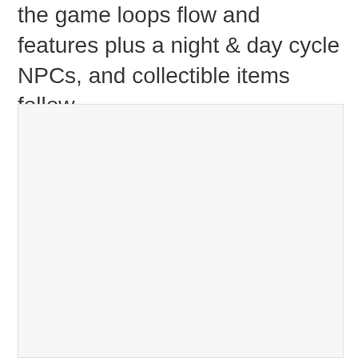the game loops flow and features plus a night & day cycle NPCs, and collectible items follow.
[Figure (other): A large light gray placeholder image box occupying the lower portion of the page.]